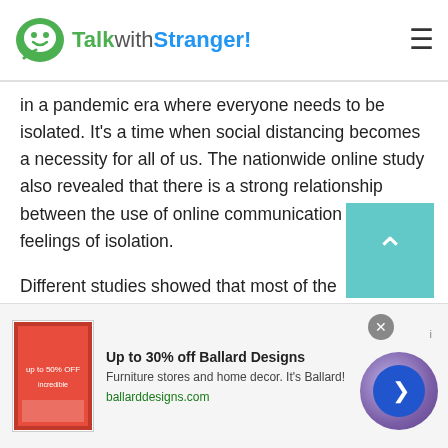TalkwithStranger!
in a pandemic era where everyone needs to be isolated. It's a time when social distancing becomes a necessity for all of us. The nationwide online study also revealed that there is a strong relationship between the use of online communication tools and feelings of isolation.
Different studies showed that most of the respondents turned to online chat apps. Because they feel connected to others as they were restricted to meet friends and family. Whether you live in Senegal, China, India, Canada, USA, UK, talk
[Figure (screenshot): Advertisement banner for Ballard Designs - Up to 30% off, furniture stores and home decor. ballarddesigns.com]